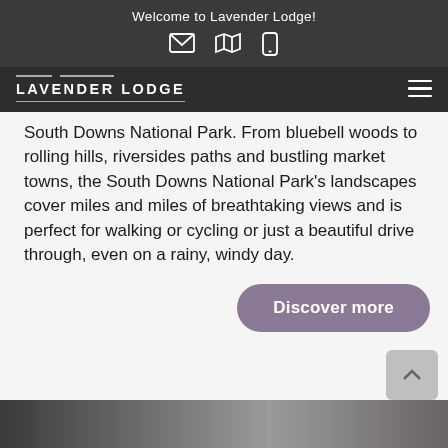Welcome to Lavender Lodge!
South Downs National Park. From bluebell woods to rolling hills, riversides paths and bustling market towns, the South Downs National Park's landscapes cover miles and miles of breathtaking views and is perfect for walking or cycling or just a beautiful drive through, even on a rainy, windy day.
Discover more
[Figure (photo): Partial view of a building or lodge rooftop, dark structure visible at bottom of page]